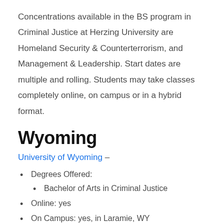Concentrations available in the BS program in Criminal Justice at Herzing University are Homeland Security & Counterterrorism, and Management & Leadership. Start dates are multiple and rolling. Students may take classes completely online, on campus or in a hybrid format.
Wyoming
University of Wyoming –
Degrees Offered:
Bachelor of Arts in Criminal Justice
Online: yes
On Campus: yes, in Laramie, WY
Hybrid: yes